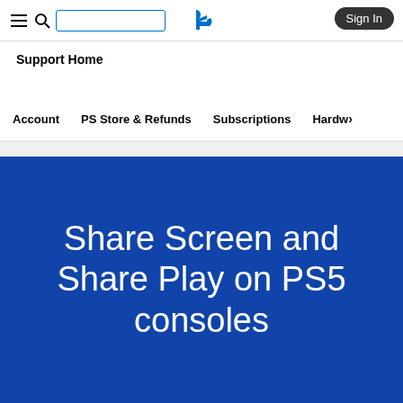Sign In
Support Home
Account   PS Store & Refunds   Subscriptions   Hardw›
Share Screen and Share Play on PS5 consoles